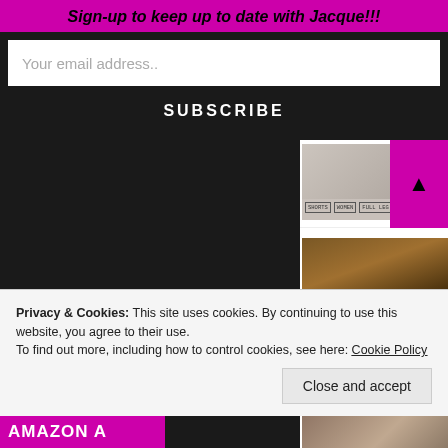Sign-up to keep up to date with Jacque!!!
Your email address..
SUBSCRIBE
FASHION
THANKSGIVING IDEAS!?! WHAT ARE YOU MAKING?
FOOD, HOLIDAY
WHAT WILL BE ON
Privacy & Cookies: This site uses cookies. By continuing to use this website, you agree to their use.
To find out more, including how to control cookies, see here: Cookie Policy
Close and accept
AMAZON A